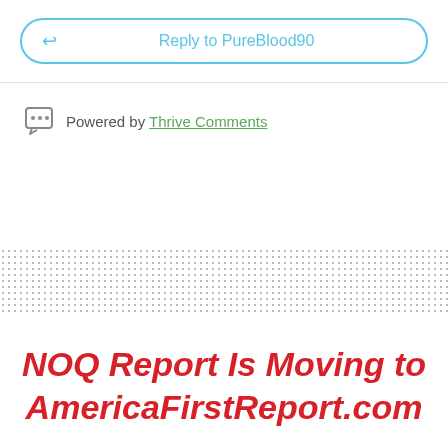[Figure (screenshot): Reply input box with cyan border and arrow icon, labeled 'Reply to PureBlood90']
Powered by Thrive Comments
[Figure (other): Dotted/stipple decorative band spanning full width]
NOQ Report Is Moving to AmericaFirstReport.com